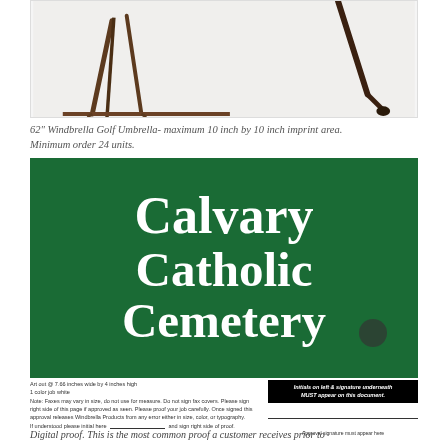[Figure (photo): Partial view of a golf umbrella frame/legs against white background]
62" Windbrella Golf Umbrella- maximum 10 inch by 10 inch imprint area. Minimum order 24 units.
[Figure (photo): Dark green sign with white serif text reading 'Calvary Catholic Cemetery' in large bold letters]
Art out @ 7.66 inches wide by 4 inches high
1 color job white
Note: Faxes may vary in size, do not use for measure. Do not sign fax covers. Please sign right side of this page if approved as seen. Please proof your job carefully. Once signed this approval releases Windbrella Products from any error either in size, color, or typography.
Initials on left & signature underneath MUST appear on this document.
If understood please initial here _____________ and sign right side of proof.
Approval signature must appear here
Digital proof. This is the most common proof a customer receives prior to